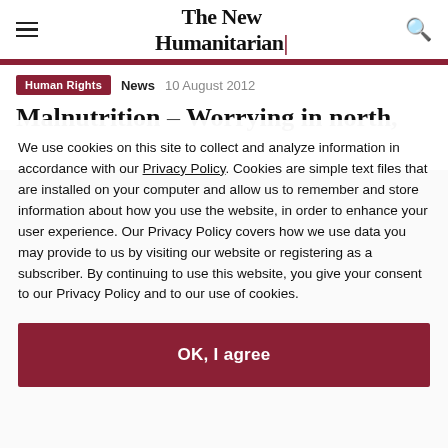The New Humanitarian
Human Rights  News  10 August 2012
Malnutrition - Worrying in north, missing in south
We use cookies on this site to collect and analyze information in accordance with our Privacy Policy. Cookies are simple text files that are installed on your computer and allow us to remember and store information about how you use the website, in order to enhance your user experience. Our Privacy Policy covers how we use data you may provide to us by visiting our website or registering as a subscriber. By continuing to use this website, you give your consent to our Privacy Policy and to our use of cookies.
OK, I agree